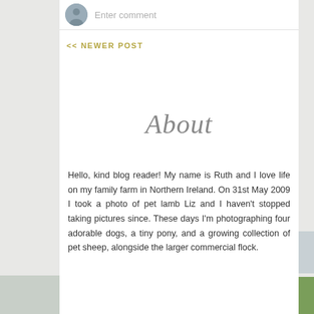Enter comment
<< NEWER POST
About
Hello, kind blog reader! My name is Ruth and I love life on my family farm in Northern Ireland. On 31st May 2009 I took a photo of pet lamb Liz and I haven't stopped taking pictures since. These days I'm photographing four adorable dogs, a tiny pony, and a growing collection of pet sheep, alongside the larger commercial flock.